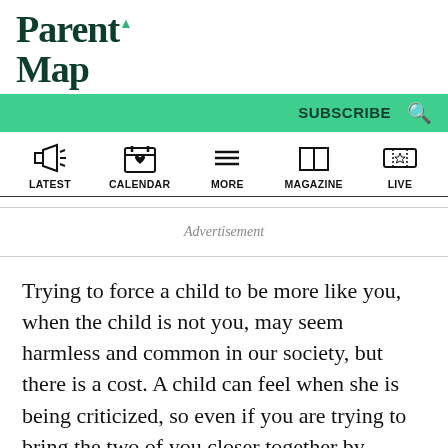ParentMap
SUBSCRIBE
LATEST | CALENDAR | MORE | MAGAZINE | LIVE
Advertisement
Trying to force a child to be more like you, when the child is not you, may seem harmless and common in our society, but there is a cost. A child can feel when she is being criticized, so even if you are trying to bring the two of you closer together by putting your child through paces you were put through as a kid,